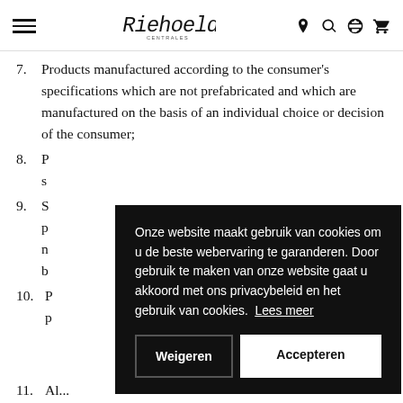Rikhoek Centrales — navigation bar with hamburger menu, logo, location pin, search, globe, and cart icons
7. Products manufactured according to the consumer's specifications which are not prefabricated and which are manufactured on the basis of an individual choice or decision of the consumer;
8. [partially obscured by cookie banner]
9. [partially obscured by cookie banner]
10. [partially obscured by cookie banner]
11. [partially visible at bottom]
Onze website maakt gebruik van cookies om u de beste webervaring te garanderen. Door gebruik te maken van onze website gaat u akkoord met ons privacybeleid en het gebruik van cookies. Lees meer — Weigeren | Accepteren